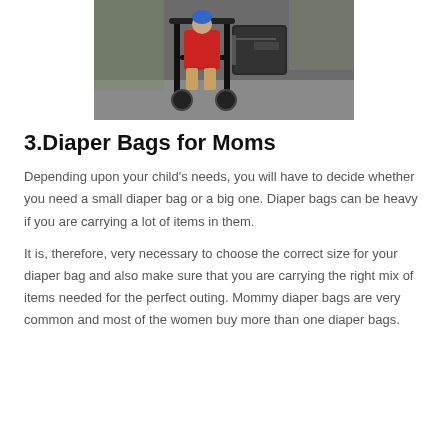[Figure (photo): Photo of a child in a stroller with a black diaper bag attached to the side, outdoors.]
3.Diaper Bags for Moms
Depending upon your child’s needs, you will have to decide whether you need a small diaper bag or a big one. Diaper bags can be heavy if you are carrying a lot of items in them.
It is, therefore, very necessary to choose the correct size for your diaper bag and also make sure that you are carrying the right mix of items needed for the perfect outing. Mommy diaper bags are very common and most of the women buy more than one diaper bags.